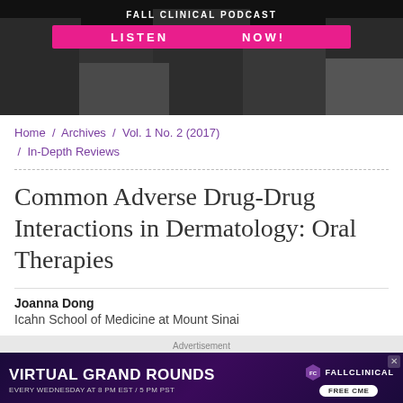[Figure (photo): Fall Clinical Podcast banner with black and white photos of medical professionals and a pink 'LISTEN NOW!' button]
Home / Archives / Vol. 1 No. 2 (2017) / In-Depth Reviews
Common Adverse Drug-Drug Interactions in Dermatology: Oral Therapies
Joanna Dong
Icahn School of Medicine at Mount Sinai
[Figure (other): Advertisement banner: Virtual Grand Rounds, Every Wednesday at 8 PM EST / 5 PM PST, FallClinical, Free CME]